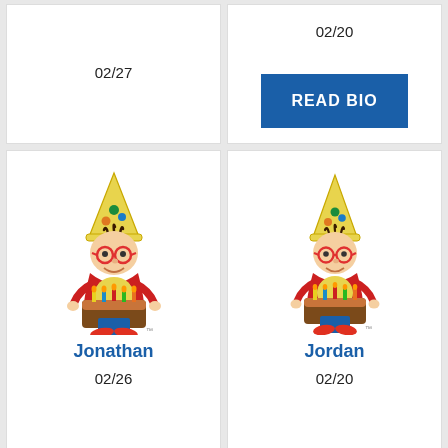02/27
02/20
[Figure (illustration): READ BIO button (blue background, white text)]
[Figure (illustration): Cartoon character Jonathan - boy with party hat and birthday cake]
Jonathan
02/26
[Figure (illustration): Cartoon character Jordan - boy with party hat and birthday cake]
Jordan
02/20